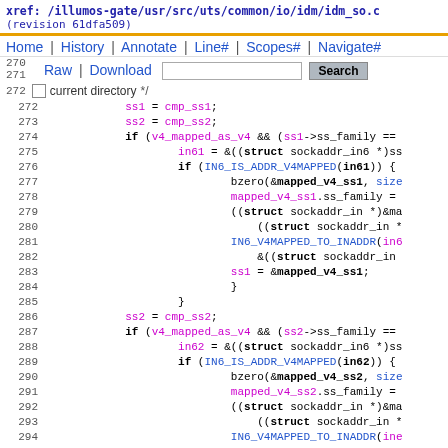xref: /illumos-gate/usr/src/uts/common/io/idm/idm_so.c (revision 61dfa509)
Home | History | Annotate | Line# | Scopes# | Navigate#
Raw | Download | [search box] Search
[checkbox] current directory
Code listing lines 272-294 of idm_so.c